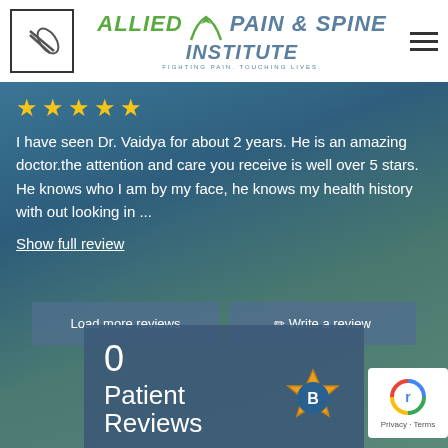[Figure (logo): Allied Pain & Spine Institute logo with tagline 'Fighting Pain. Touching Lives.']
[Figure (photo): Background photo of a couple embracing outdoors with teal/blue tones]
I have seen Dr. Vaidya for about 2 years. He is an amazing doctor.the attention and care you receive is well over 5 stars. He knows who I am by my face, he knows my health history with out looking in ...
Show full review
Load more reviews
✏ Write a review
0
Patient
Reviews